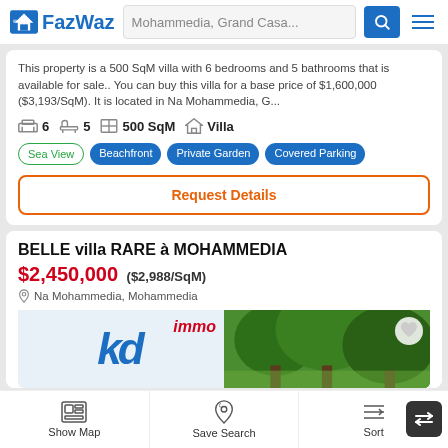FazWaz — Mohammedia, Grand Casa...
This property is a 500 SqM villa with 6 bedrooms and 5 bathrooms that is available for sale.. You can buy this villa for a base price of $1,600,000 ($3,193/SqM). It is located in Na Mohammedia, G...
6 bedrooms · 5 bathrooms · 500 SqM · Villa
Sea View · Beachfront · Private Garden · Covered Parking
Request Details
BELLE villa RARE à MOHAMMEDIA
$2,450,000 ($2,988/SqM)
Na Mohammedia, Mohammedia
[Figure (screenshot): Property agency logo image showing 'kd immo' branding and trees in background]
Show Map · Save Search · Sort